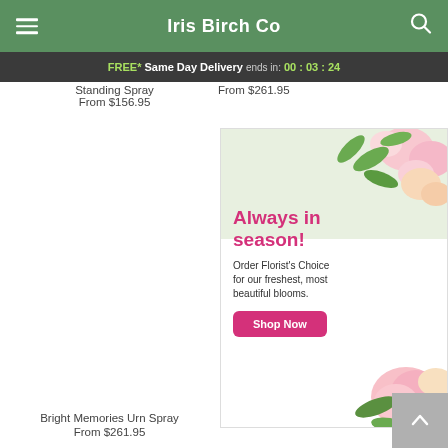Iris Birch Co
FREE* Same Day Delivery ends in: 00 : 03 : 24
Standing Spray
From $156.95
From $261.95
[Figure (infographic): Promotional advertisement banner with flowers. Text: Always in season! Order Florist's Choice for our freshest, most beautiful blooms. Shop Now button.]
Bright Memories Urn Spray
From $261.95